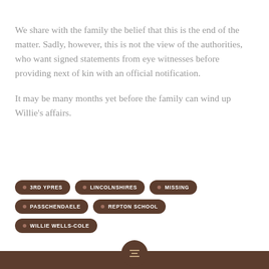We share with the family the belief that this is the end of the matter. Sadly, however, this is not the view of the authorities, who want signed statements from eye witnesses before providing next of kin with an official notification.
It may be many months yet before the family can wind up Willie's affairs.
3RD YPRES
LINCOLNSHIRES
MISSING
PASSCHENDAELE
REPTON SCHOOL
WILLIE WELLS-COLE